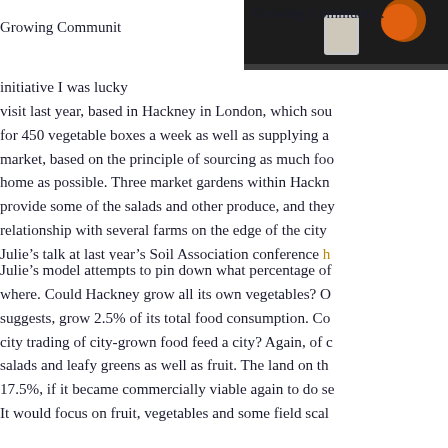[Figure (photo): Photo of food/produce items on dark background, partially visible at top of page]
Growing Communit... initiative I was lucky... visit last year, based in Hackney in London, which sou... for 450 vegetable boxes a week as well as supplying a... market, based on the principle of sourcing as much foo... home as possible. Three market gardens within Hackn... provide some of the salads and other produce, and they... relationship with several farms on the edge of the city... Julie’s talk at last year’s Soil Association conference h...
Julie’s model attempts to pin down what percentage of... where. Could Hackney grow all its own vegetables? O... suggests, grow 2.5% of its total food consumption. Co... city trading of city-grown food feed a city? Again, of c... salads and leafy greens as well as fruit. The land on th... 17.5%, if it became commercially viable again to do se... It would focus on fruit, vegetables and some field scal...